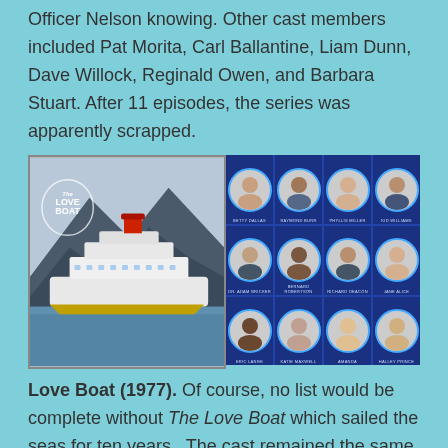Officer Nelson knowing. Other cast members included Pat Morita, Carl Ballantine, Liam Dunn, Dave Willock, Reginald Owen, and Barbara Stuart. After 11 episodes, the series was apparently scrapped.
[Figure (photo): Left: black and white photo of a cruise ship with 'The Love Boat' logo overlay. Right: 4x3 grid of circular portrait photos of cast members with blue circular borders and name labels beneath each.]
Love Boat (1977). Of course, no list would be complete without The Love Boat which sailed the seas for ten years.  The cast remained the same, but the passengers and their romantic tales changed from week to week. We'll visit this show in more detail in July.